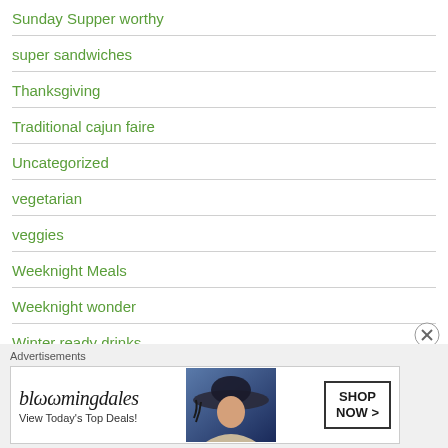Sunday Supper worthy
super sandwiches
Thanksgiving
Traditional cajun faire
Uncategorized
vegetarian
veggies
Weeknight Meals
Weeknight wonder
Winter ready drinks
[Figure (screenshot): Bloomingdales advertisement banner: 'View Today's Top Deals!' with SHOP NOW button and woman in wide-brim hat image]
Advertisements